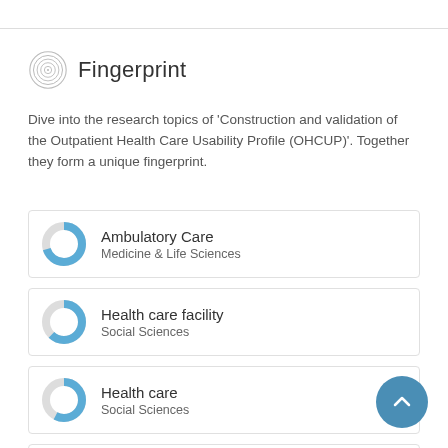Fingerprint
Dive into the research topics of 'Construction and validation of the Outpatient Health Care Usability Profile (OHCUP)'. Together they form a unique fingerprint.
Ambulatory Care
Medicine & Life Sciences
Health care facility
Social Sciences
Health care
Social Sciences
Health Facilities
Medicine & Life Sciences